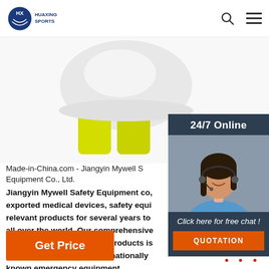HUAXING SPORTS
[Figure (photo): Yellow and white safety helmet/sports equipment product photo on white background]
24/7 Online
[Figure (photo): Customer service agent - woman with headset smiling]
Click here for free chat !
QUOTATION
Made-in-China.com - Jiangyin Mywell S Equipment Co., Ltd.
Jiangyin Mywell Safety Equipment co, exported medical devices, safety equi relevant products for several years to all over the world. Our comprehensive and cost effective medical products is supplied directly from internationally known emergency equipment manufactures in China.
Get Price
TOP